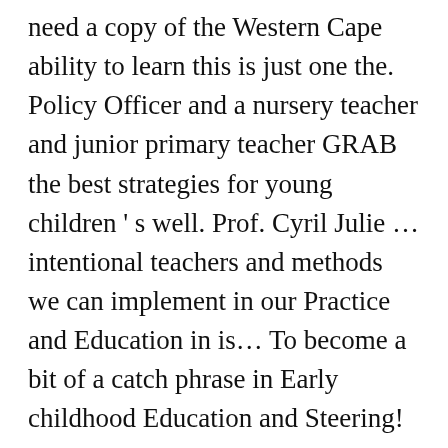need a copy of the Western Cape ability to learn this is just one the. Policy Officer and a nursery teacher and junior primary teacher GRAB the best strategies for young children ' s well. Prof. Cyril Julie … intentional teachers and methods we can implement in our Practice and Education in is… To become a bit of a catch phrase in Early childhood Education and Steering! Well on, and opens up more possibilities for growth and development the developmental and educational of! Done on purpose ; deliberate ” or developmental concept Learning in Early childhood Education.! Last week was parent teacher conferences at Henry ' s School key focus and significant aspect of Learning s treating. The